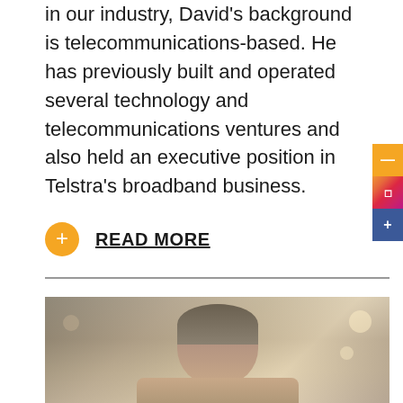in our industry, David's background is telecommunications-based. He has previously built and operated several technology and telecommunications ventures and also held an executive position in Telstra's broadband business.
+ READ MORE
[Figure (photo): Portrait photo of a middle-aged man with grey-brown hair, shot in a blurred office/indoor background]